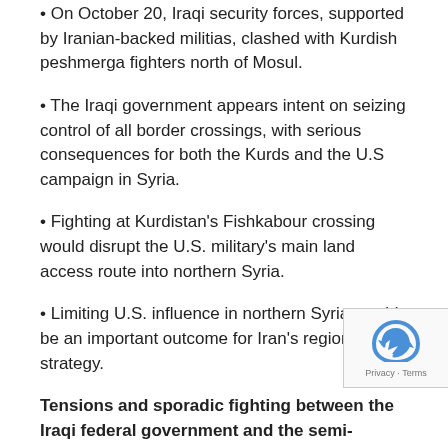On October 20, Iraqi security forces, supported by Iranian-backed militias, clashed with Kurdish peshmerga fighters north of Mosul.
The Iraqi government appears intent on seizing control of all border crossings, with serious consequences for both the Kurds and the U.S campaign in Syria.
Fighting at Kurdistan’s Fishkabour crossing would disrupt the U.S. military’s main land access route into northern Syria.
Limiting U.S. influence in northern Syria would be an important outcome for Iran’s regional strategy.
Tensions and sporadic fighting between the Iraqi federal government and the semi-autonomous region of Kurdistan have grown more intense and consequential with new reports of fighting north of Mosul. Repercussions of